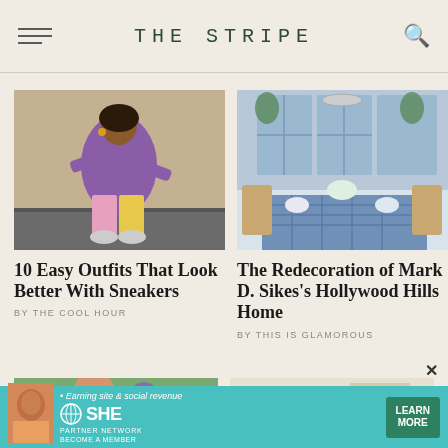THE STRIPE
[Figure (photo): Woman in purple sweatshirt and colorful pants sitting against a stone wall outdoors]
10 Easy Outfits That Look Better With Sneakers
BY THE COOL HOUR
[Figure (photo): Elegant dining room with blue gingham tablecloth, wicker chairs, and chandelier by Mark D. Sikes]
The Redecoration of Mark D. Sikes's Hollywood Hills Home
BY THIS IS GLAMOROUS
[Figure (photo): Partial bottom left card showing people outdoors]
[Figure (photo): Partial bottom right card showing interior]
[Figure (infographic): SHE Media Partner Network advertisement banner with teal background: Earning site & social revenue, LEARN MORE button]